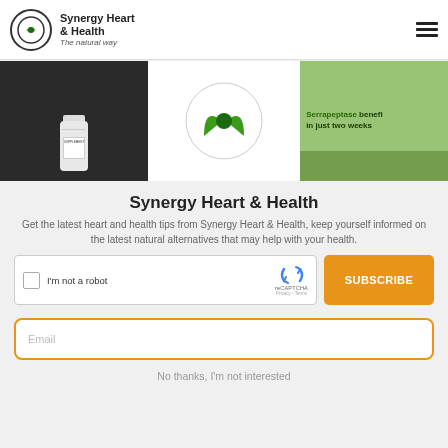Synergy Heart & Health — The natural way
[Figure (screenshot): Website header banner showing three images: supplement bottle, Synergy Heart & Health logo, and green leaf with 'Serrapeptase benefits in just two weeks' text]
Synergy Heart & Health
Get the latest heart and health tips from Synergy Heart & Health, keep yourself informed on the latest natural alternatives that may help with your health.
[Figure (screenshot): reCAPTCHA widget with 'I'm not a robot' checkbox]
[Figure (screenshot): Subscribe button in orange]
[Figure (screenshot): Email input field with orange border]
No thanks, I'm not interested